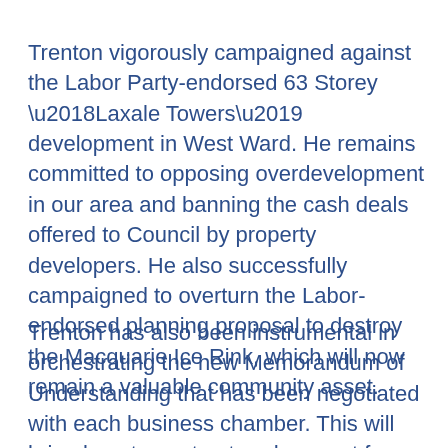Trenton vigorously campaigned against the Labor Party-endorsed 63 Storey ‘Laxale Towers’ development in West Ward. He remains committed to opposing overdevelopment in our area and banning the cash deals offered to Council by property developers. He also successfully campaigned to overturn the Labor-endorsed planning proposal to destroy the Macquarie Ice Rink, which will now remain a valuable community asset.
Trenton has also been instrumental in orchestrating the new Memorandum of Understanding that has been negotiated with each business chamber. This will bring long term structured support from